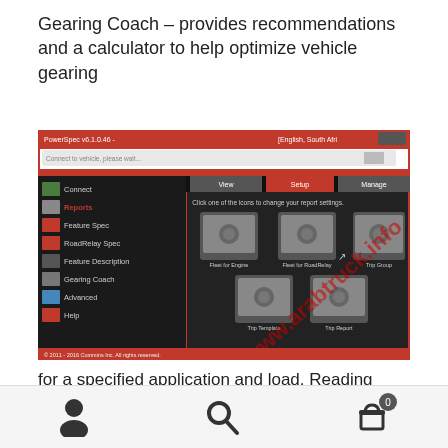Gearing Coach – provides recommendations and a calculator to help optimize vehicle gearing
[Figure (screenshot): Screenshot of PowerSpec software showing the Reports section with icons for Fleet for Engine, Fleet for RoadRelay, Trip Group, Trip Template, and Trip Report. A watermark 'www.arabtruck.info' is visible diagonally across the image. The software interface shows a left navigation panel with Connect, Reports, Feature Spec, RoadRelay Spec, Feature Description, Gearing Coach, Advanced, Help options.]
for a specified application and load. Reading Engine Data – reads engine feature settings, trip information, and fault